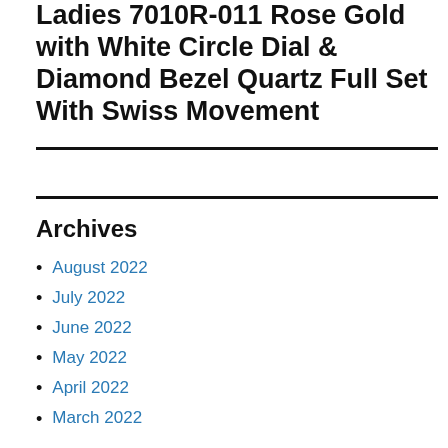Ladies 7010R-011 Rose Gold with White Circle Dial & Diamond Bezel Quartz Full Set With Swiss Movement
Archives
August 2022
July 2022
June 2022
May 2022
April 2022
March 2022